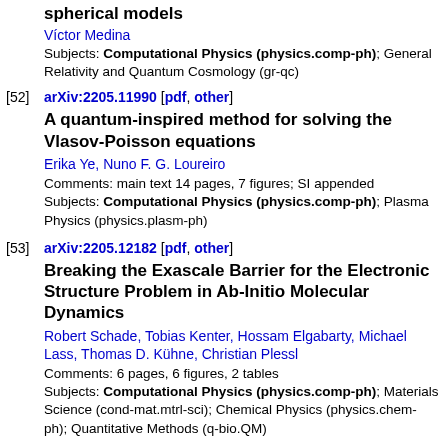spherical models
Víctor Medina
Subjects: Computational Physics (physics.comp-ph); General Relativity and Quantum Cosmology (gr-qc)
[52] arXiv:2205.11990 [pdf, other]
A quantum-inspired method for solving the Vlasov-Poisson equations
Erika Ye, Nuno F. G. Loureiro
Comments: main text 14 pages, 7 figures; SI appended
Subjects: Computational Physics (physics.comp-ph); Plasma Physics (physics.plasm-ph)
[53] arXiv:2205.12182 [pdf, other]
Breaking the Exascale Barrier for the Electronic Structure Problem in Ab-Initio Molecular Dynamics
Robert Schade, Tobias Kenter, Hossam Elgabarty, Michael Lass, Thomas D. Kühne, Christian Plessl
Comments: 6 pages, 6 figures, 2 tables
Subjects: Computational Physics (physics.comp-ph); Materials Science (cond-mat.mtrl-sci); Chemical Physics (physics.chem-ph); Quantitative Methods (q-bio.QM)